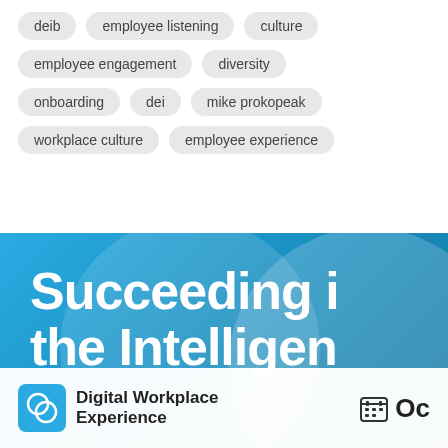deib
employee listening
culture
employee engagement
diversity
onboarding
dei
mike prokopeak
workplace culture
employee experience
[Figure (illustration): Blue promotional banner for 'Succeeding in the Intelligent...' event hosted by reworked presents Digital Workplace Experience, with a calendar icon and date starting with 'Oc'. Features white bold text on a blue gradient background with circular arc decorations and a white bottom bar showing the event logo (circular icon on blue square), event name 'Digital Workplace Experience', and a calendar icon.]